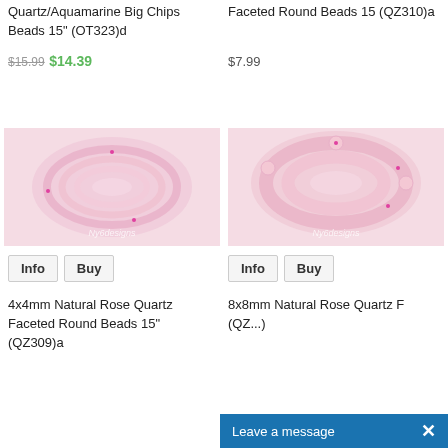Quartz/Aquamarine Big Chips Beads 15″ (OT323)d
$15.99 $14.39
Faceted Round Beads 15 (QZ310)a
$7.99
[Figure (photo): Pink rose quartz faceted round beads coiled on white background, Ny6designs watermark]
[Figure (photo): Pink rose quartz larger round beads coiled on white background, Ny6designs watermark]
Info   Buy
Info   Buy
4x4mm Natural Rose Quartz Faceted Round Beads 15″ (QZ309)a
8x8mm Natural Rose Quartz F... (QZ...)
Leave a message  ×